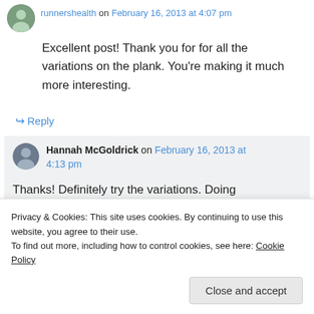runnershealth on February 16, 2013 at 4:07 pm
Excellent post! Thank you for for all the variations on the plank. You're making it much more interesting.
↳ Reply
Hannah McGoldrick on February 16, 2013 at 4:13 pm
Thanks! Definitely try the variations. Doing
Privacy & Cookies: This site uses cookies. By continuing to use this website, you agree to their use.
To find out more, including how to control cookies, see here: Cookie Policy
Close and accept